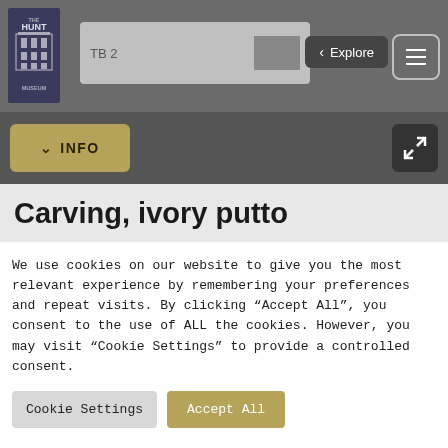[Figure (screenshot): The Hunt Museum logo in the top left corner - white building illustration with text THE HUNT MUSEUM on dark background]
[Figure (screenshot): TB 2 label with a grey input/slider box element and a dark grey square]
< Explore
[Figure (screenshot): Hamburger menu button - three horizontal lines in a rounded rectangle border]
v INFO
[Figure (screenshot): Expand/fullscreen icon button - arrows pointing to corners in dark grey square]
Carving, ivory putto
We use cookies on our website to give you the most relevant experience by remembering your preferences and repeat visits. By clicking “Accept All”, you consent to the use of ALL the cookies. However, you may visit "Cookie Settings" to provide a controlled consent.
Cookie Settings
Accept All